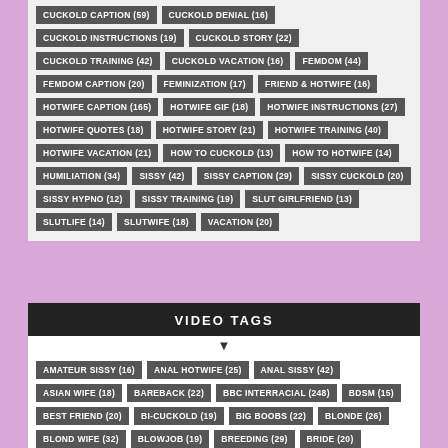CUCKOLD CAPTION (59), CUCKOLD DENIAL (16), CUCKOLD INSTRUCTIONS (19), CUCKOLD STORY (22), CUCKOLD TRAINING (42), CUCKOLD VACATION (16), FEMDOM (44), FEMDOM CAPTION (20), FEMINIZATION (17), FRIEND & HOTWIFE (16), HOTWIFE CAPTION (165), HOTWIFE GIF (18), HOTWIFE INSTRUCTIONS (27), HOTWIFE QUOTES (18), HOTWIFE STORY (21), HOTWIFE TRAINING (40), HOTWIFE VACATION (21), HOW TO CUCKOLD (13), HOW TO HOTWIFE (14), HUMILIATION (34), SISSY (42), SISSY CAPTION (29), SISSY CUCKOLD (20), SISSY HYPNO (12), SISSY TRAINING (19), SLUT GIRLFRIEND (13), SLUTLIFE (14), SLUTWIFE (18), VACATION (20)
VIDEO TAGS
AMATEUR SISSY (16), ANAL HOTWIFE (25), ANAL SISSY (42), ASIAN WIFE (18), BAREBACK (22), BBC INTERRACIAL (248), BDSM (15), BEST FRIEND (20), BI-CUCKOLD (19), BIG BOOBS (22), BLONDE (26), BLOND WIFE (32), BLOWJOB (19), BREEDING (29), BRIDE (20), CHEATING HOTWIFE (28), CHRISTMAS (17), COMPILATION (14), CREAMPIE (60), CROSS DRESSER (14), CUCK CUM CLEANUP (26)